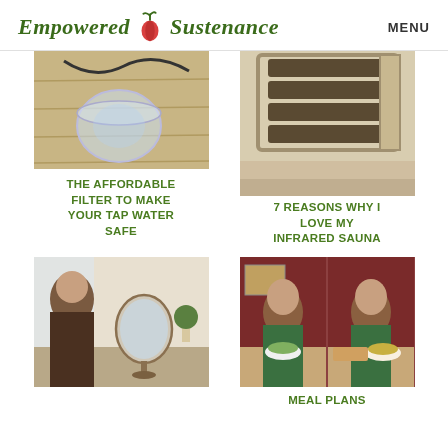Empowered Sustenance  MENU
[Figure (photo): Close-up photo of a glass bowl on a wooden floor surface - water filter related image]
[Figure (photo): Photo of an infrared sauna cabin interior]
THE AFFORDABLE FILTER TO MAKE YOUR TAP WATER SAFE
7 REASONS WHY I LOVE MY INFRARED SAUNA
[Figure (photo): Woman applying makeup while looking in a mirror on a vanity table]
[Figure (photo): Two side-by-side images of a woman preparing food/salad in a kitchen with dark red walls]
MEAL PLANS